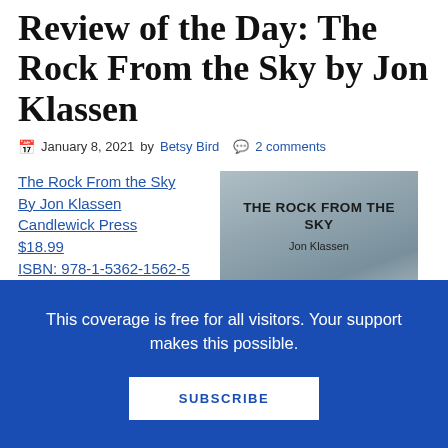Review of the Day: The Rock From the Sky by Jon Klassen
January 8, 2021 by Betsy Bird  2 comments
The Rock From the Sky
By Jon Klassen
Candlewick Press
$18.99
ISBN: 978-1-5362-1562-5
Ages 4 and up
[Figure (photo): Book cover of 'The Rock From the Sky' by Jon Klassen, showing a gray/blue sky background with the title in bold text and author name below it.]
This coverage is free for all visitors. Your support makes this possible.
SUBSCRIBE